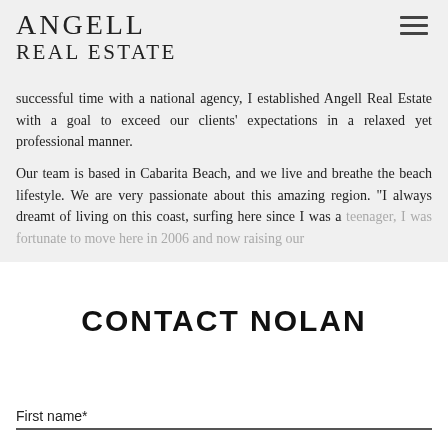ANGELL REAL ESTATE
successful time with a national agency, I established Angell Real Estate with a goal to exceed our clients' expectations in a relaxed yet professional manner.
Our team is based in Cabarita Beach, and we live and breathe the beach lifestyle. We are very passionate about this amazing region. “I always dreamt of living on this coast, surfing here since I was a teenager, I was fortunate to move here in 2006 and now raising our
Show more
CONTACT NOLAN
First name*